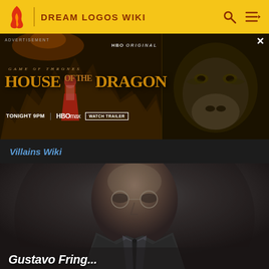DREAM LOGOS WIKI
[Figure (screenshot): HBO Original advertisement for House of the Dragon — Game of Thrones spinoff. Shows medieval figure, dragon imagery, text: ADVERTISEMENT, HBO ORIGINAL, GAME OF THRONES, HOUSE OF THE DRAGON, TONIGHT 9PM, HBO MAX, WATCH TRAILER. Close button (X) in top right.]
Villains Wiki
[Figure (photo): Portrait photo of a serious-looking man in a suit and glasses against a dark background. Partially visible name text at bottom.]